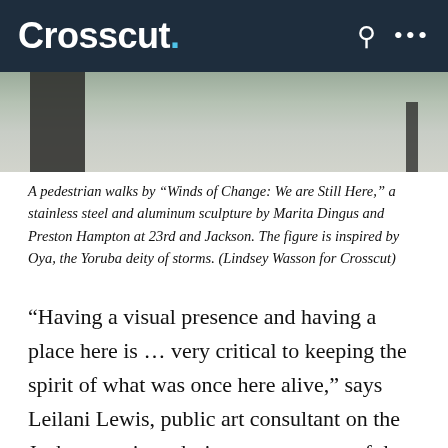Crosscut.
[Figure (photo): A pedestrian walks by a stainless steel and aluminum sculpture, photo strip at top of article.]
A pedestrian walks by “Winds of Change: We are Still Here,” a stainless steel and aluminum sculpture by Marita Dingus and Preston Hampton at 23rd and Jackson. The figure is inspired by Oya, the Yoruba deity of storms. (Lindsey Wasson for Crosscut)
“Having a visual presence and having a place here is … very critical to keeping the spirit of what was once here alive,” says Leilani Lewis, public art consultant on the Jackson project, during a recent tour of the art. At the end of a (public) pedestrian corridor slicing through the property, we